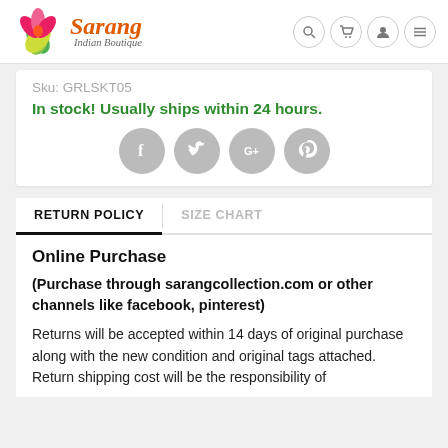Sarang Indian Boutique
Sku: GRLSKT05
In stock! Usually ships within 24 hours.
[Figure (other): Social media share icons: Facebook, Twitter, Google+, Pinterest]
RETURN POLICY | SIZE CHART
Online Purchase
(Purchase through sarangcollection.com or other channels like facebook, pinterest)
Returns will be accepted within 14 days of original purchase along with the new condition and original tags attached. Return shipping cost will be the responsibility of